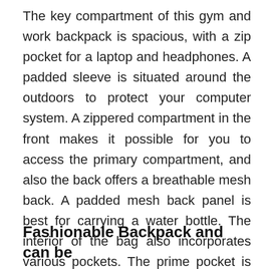The key compartment of this gym and work backpack is spacious, with a zip pocket for a laptop and headphones. A padded sleeve is situated around the outdoors to protect your computer system. A zippered compartment in the front makes it possible for you to access the primary compartment, and also the back offers a breathable mesh back. A padded mesh back panel is best for carrying a water bottle. The interior of the bag also incorporates various pockets. The prime pocket is for accessories, plus a separate shoe compartment is obtainable.
Fashionable Backpack and can be